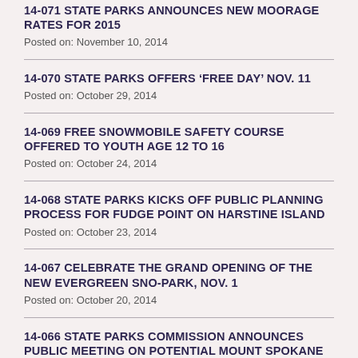14-071 STATE PARKS ANNOUNCES NEW MOORAGE RATES FOR 2015
Posted on: November 10, 2014
14-070 STATE PARKS OFFERS ‘FREE DAY’ NOV. 11
Posted on: October 29, 2014
14-069 FREE SNOWMOBILE SAFETY COURSE OFFERED TO YOUTH AGE 12 TO 16
Posted on: October 24, 2014
14-068 STATE PARKS KICKS OFF PUBLIC PLANNING PROCESS FOR FUDGE POINT ON HARSTINE ISLAND
Posted on: October 23, 2014
14-067 CELEBRATE THE GRAND OPENING OF THE NEW EVERGREEN SNO-PARK, NOV. 1
Posted on: October 20, 2014
14-066 STATE PARKS COMMISSION ANNOUNCES PUBLIC MEETING ON POTENTIAL MOUNT SPOKANE SKI AREA EXPANSION